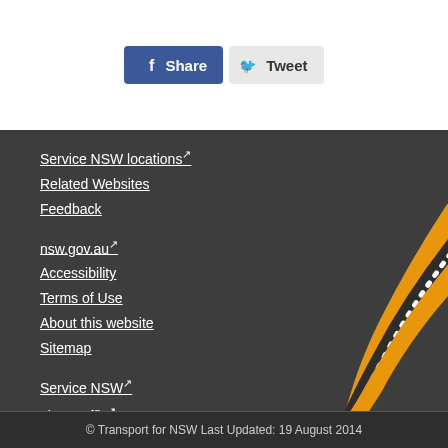[Figure (other): Social sharing buttons: Facebook Share and Twitter Tweet]
Service NSW locations ↗
Related Websites
Feedback
nsw.gov.au ↗
Accessibility
Terms of Use
About this website
Sitemap
Service NSW ↗
Live Traffic ↗
Transport Info 131500 ↗
Transport for NSW ↗
[Figure (illustration): Decorative Aboriginal-style wavy striped ribbon in orange, dark, and white dots curving across the bottom-right of the footer]
© Transport for NSW Last Updated: 19 August 2014